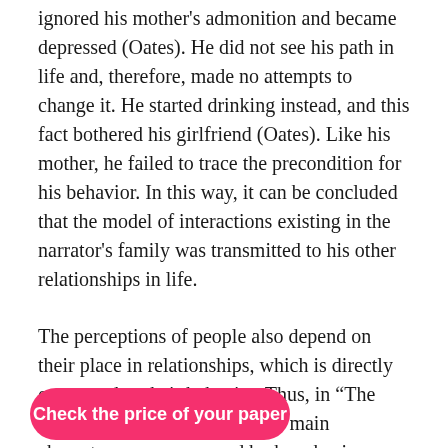ignored his mother's admonition and became depressed (Oates). He did not see his path in life and, therefore, made no attempts to change it. He started drinking instead, and this fact bothered his girlfriend (Oates). Like his mother, he failed to trace the precondition for his behavior. In this way, it can be concluded that the model of interactions existing in the narrator's family was transmitted to his other relationships in life.
The perceptions of people also depend on their place in relationships, which is directly connected to their behavior. Thus, in “The Story of An Hour,” Louise, the main character, was suppressed by her abusive husband (Chopin). Hence, her reaction to his alleged death was positive, and she started to plan her happy future on her own (Chopin). In this nd evoked such a avior in
Check the price of your paper